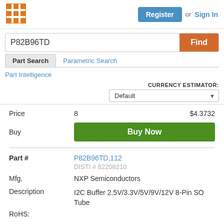[Figure (logo): Orange grid/mesh logo icon]
Register or Sign In
P82B96TD
Find
Part Search
Parametric Search
Part Intelligence
CURRENCY ESTIMATOR: Default
| Label | Value |
| --- | --- |
| Price | 8  $4.3732 |
| Buy | Buy Now |
| Part # | P82B96TD,112  DISTI # 62208210 |
| Mfg. | NXP Semiconductors |
| Description | I2C Buffer 2.5V/3.3V/5V/9V/12V 8-Pin SO Tube |
| RoHS: |  |